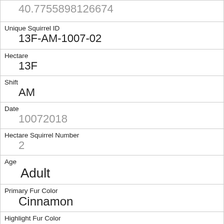| 40.7755898126674 |
| Unique Squirrel ID | 13F-AM-1007-02 |
| Hectare | 13F |
| Shift | AM |
| Date | 10072018 |
| Hectare Squirrel Number | 2 |
| Age | Adult |
| Primary Fur Color | Cinnamon |
| Highlight Fur Color | White |
| Combination of Primary and Highlight Color | Cinnamon+White |
| Color notes |  |